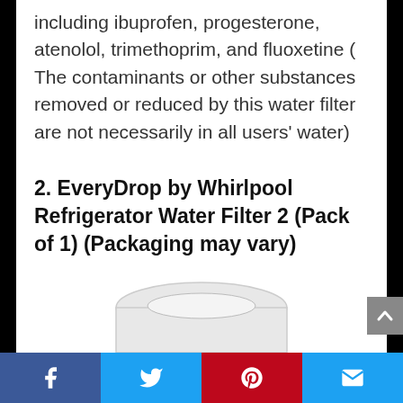including ibuprofen, progesterone, atenolol, trimethoprim, and fluoxetine ( The contaminants or other substances removed or reduced by this water filter are not necessarily in all users' water)
2. EveryDrop by Whirlpool Refrigerator Water Filter 2 (Pack of 1) (Packaging may vary)
[Figure (photo): Partial view of a white refrigerator water filter product, showing the top rounded portion of the filter.]
Facebook | Twitter | Pinterest | Email